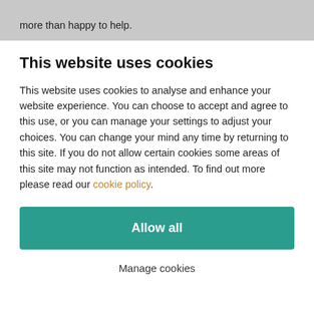more than happy to help.
This website uses cookies
This website uses cookies to analyse and enhance your website experience. You can choose to accept and agree to this use, or you can manage your settings to adjust your choices. You can change your mind any time by returning to this site. If you do not allow certain cookies some areas of this site may not function as intended. To find out more please read our cookie policy.
Allow all
Manage cookies